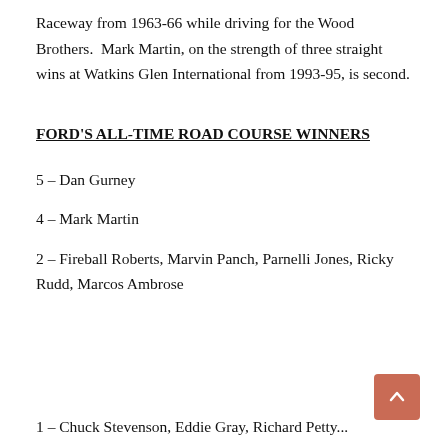Raceway from 1963-66 while driving for the Wood Brothers.  Mark Martin, on the strength of three straight wins at Watkins Glen International from 1993-95, is second.
FORD'S ALL-TIME ROAD COURSE WINNERS
5 – Dan Gurney
4 – Mark Martin
2 – Fireball Roberts, Marvin Panch, Parnelli Jones, Ricky Rudd, Marcos Ambrose
1 – Chuck Stevenson, Eddie Gray, Richard Petty...